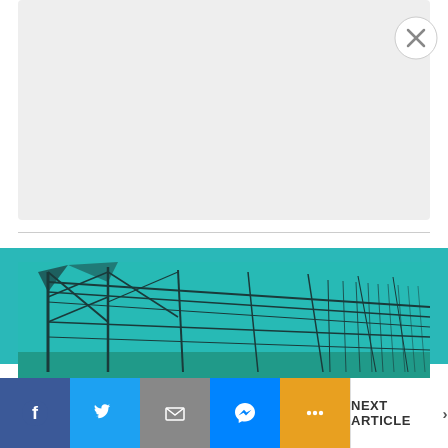[Figure (other): Gray advertisement placeholder box with a circular close (X) button in the top-right corner]
[Figure (photo): Photograph of a large greenhouse interior structure with metal frame, tinted in teal/cyan, with a small white X button in the bottom-right corner]
NEXT ARTICLE >